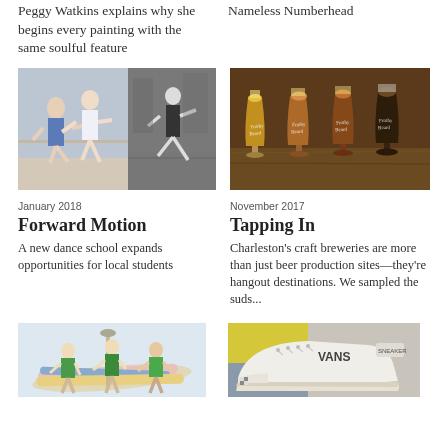Peggy Watkins explains why she begins every painting with the same soulful feature
Nameless Numberhead
[Figure (photo): Two-panel image: left panel shows ballet dancers in a studio in color; right panel shows a dancer on a street in black and white]
January 2018
Forward Motion
A new dance school expands opportunities for local students
[Figure (photo): Four Frothy Beard branded beer glasses lined up on a bar, ranging from light golden ale to dark stout]
November 2017
Tapping In
Charleston's craft breweries are more than just beer production sites—they're hangout destinations. We sampled the suds...
[Figure (photo): Three men in green shirts posing with surfboards and a paddleboard]
[Figure (photo): Vans sneakers on a yellow and grey background]